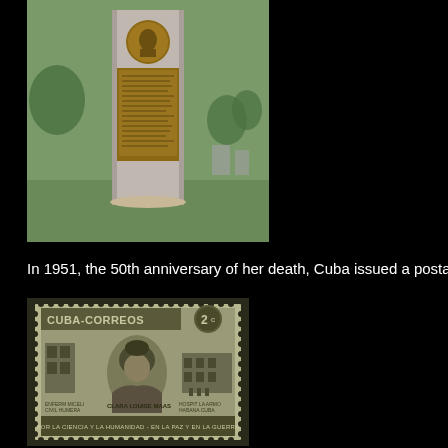[Figure (photo): Photograph of a tall granite monument/gravestone in a cemetery with green grass. The monument features a bronze medallion portrait at the top and a bronze plaque with inscriptions below it. Trees and other gravestones are visible in the background.]
In 1951, the 50th anniversary of her death, Cuba issued a postage st
[Figure (photo): Image of a Cuban postage stamp (2 cents) labeled CUBA-CORREOS. The olive/green colored stamp features a portrait of Clara Louise Maas along with buildings. Text at the bottom reads: POR LA CIENCIA Y LA HUMANIDAD - EN LA PAZ Y EN LA GUERRA. The stamp shows HOSPIT LA ARMO and HABANA CUBA text.]